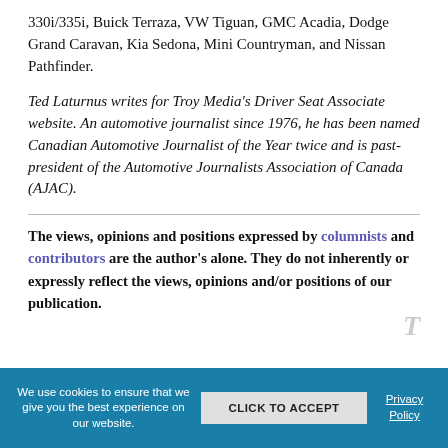330i/335i, Buick Terraza, VW Tiguan, GMC Acadia, Dodge Grand Caravan, Kia Sedona, Mini Countryman, and Nissan Pathfinder.
Ted Laturnus writes for Troy Media's Driver Seat Associate website. An automotive journalist since 1976, he has been named Canadian Automotive Journalist of the Year twice and is past-president of the Automotive Journalists Association of Canada (AJAC).
The views, opinions and positions expressed by columnists and contributors are the author's alone. They do not inherently or expressly reflect the views, opinions and/or positions of our publication.
We use cookies to ensure that we give you the best experience on our website. CLICK TO ACCEPT Privacy Policy